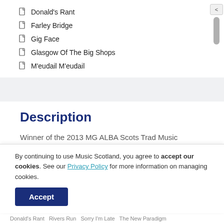Donald's Rant
Farley Bridge
Gig Face
Glasgow Of The Big Shops
M'eudail M'eudail
Description
Winner of the 2013 MG ALBA Scots Trad Music Awards Live Act Of The Year.
Winner of the 2013 MG ALBA Scots Trad Music Awards Scottish
By continuing to use Music Scotland, you agree to accept our cookies. See our Privacy Policy for more information on managing cookies.
Donald's Rant   Rivers Run   Sorry I'm Late   The New Paradigm